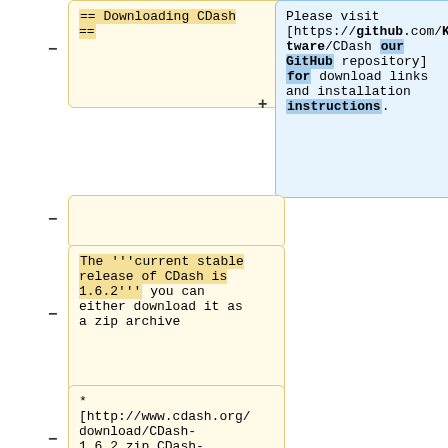== Downloading CDash ==
Please visit [https://github.com/Kitware/CDash our GitHub repository] for download links and installation instructions.
The '''current stable release of CDash is 1.6.2''' you can either download it as a zip archive
* [http://www.cdash.org/download/CDash-1.6.2.zip CDash-1.6.2.zip]
* or from the